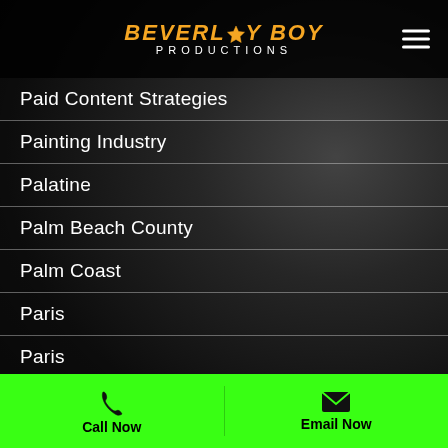Beverly Boy Productions
Paid Content Strategies
Painting Industry
Palatine
Palm Beach County
Palm Coast
Paris
Paris
Parker County
Pasco County
Paso
Call Now   Email Now